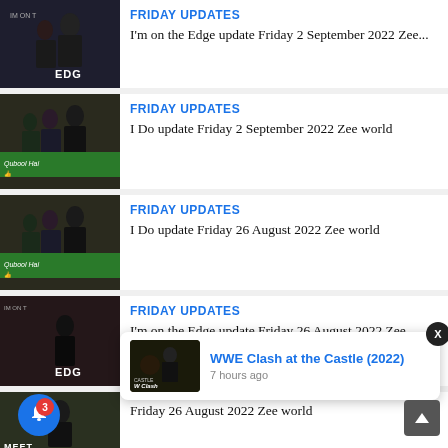[Figure (screenshot): Thumbnail image for I'm on the Edge TV show with Edge logo]
FRIDAY UPDATES
I'm on the Edge update Friday 2 September 2022 Zee...
[Figure (screenshot): Thumbnail image for I Do Zee World drama show]
FRIDAY UPDATES
I Do update Friday 2 September 2022 Zee world
[Figure (screenshot): Thumbnail image for I Do Zee World drama show second entry]
FRIDAY UPDATES
I Do update Friday 26 August 2022 Zee world
[Figure (screenshot): Thumbnail image for I'm on the Edge second entry]
FRIDAY UPDATES
I'm on the Edge update Friday 26 August 2022 Zee World
[Figure (screenshot): Thumbnail image for Meet show partial]
Friday 26 August 2022 Zee world
[Figure (screenshot): Notification popup: WWE Clash at the Castle (2022) - 7 hours ago]